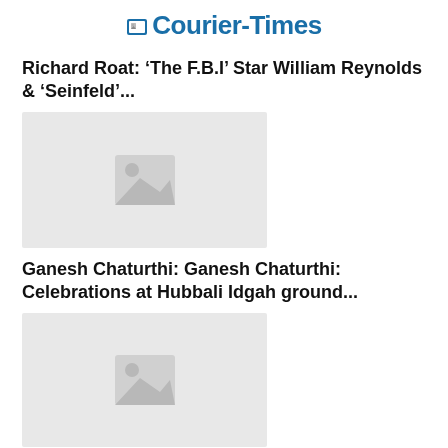Courier-Times
Richard Roat: ‘The F.B.I’ Star William Reynolds & ‘Seinfeld’...
[Figure (photo): Placeholder image for article about Richard Roat]
Ganesh Chaturthi: Ganesh Chaturthi: Celebrations at Hubbali Idgah ground...
[Figure (photo): Placeholder image for article about Ganesh Chaturthi]
Laverne Cox: Anna Delvey’s Former Friend Rachel...